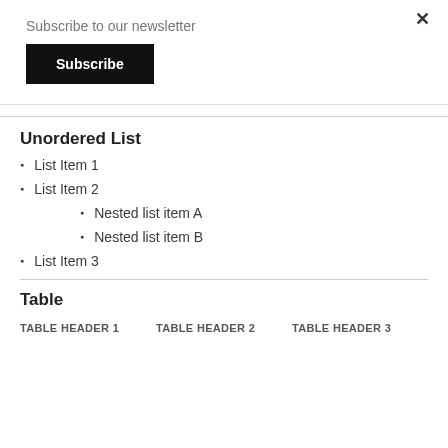Subscribe to our newsletter
Subscribe
×
Unordered List
List Item 1
List Item 2
Nested list item A
Nested list item B
List Item 3
Table
| TABLE HEADER 1 | TABLE HEADER 2 | TABLE HEADER 3 |
| --- | --- | --- |